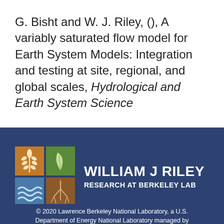G. Bisht and W. J. Riley, (), A variably saturated flow model for Earth System Models: Integration and testing at site, regional, and global scales, Hydrological and Earth System Science
[Figure (logo): William J Riley Research at Berkeley Lab logo: four-quadrant icon (wheat on orange, leaf on green, river on blue, roots on brown) with text WILLIAM J RILEY RESEARCH AT BERKELEY LAB on dark blue background]
© 2020 Lawrence Berkeley National Laboratory, a U.S. Department of Energy National Laboratory managed by